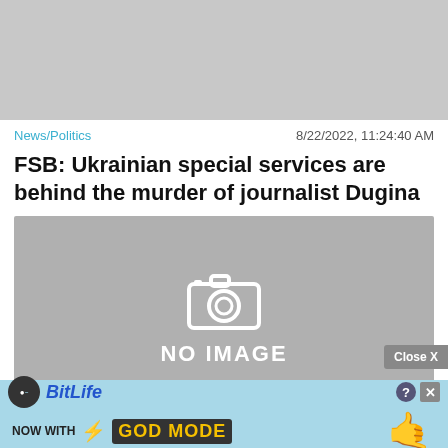[Figure (other): Gray placeholder image at top of page]
News/Politics    8/22/2022, 11:24:40 AM
FSB: Ukrainian special services are behind the murder of journalist Dugina
[Figure (other): No Image placeholder with camera icon and 'NO IMAGE' text on gray background]
News/Politics    8/22/2022, 1:18:29 PM
Two activists pose topless near Olaf Scholz
[Figure (other): BitLife advertisement banner - NOW WITH GOD MODE]